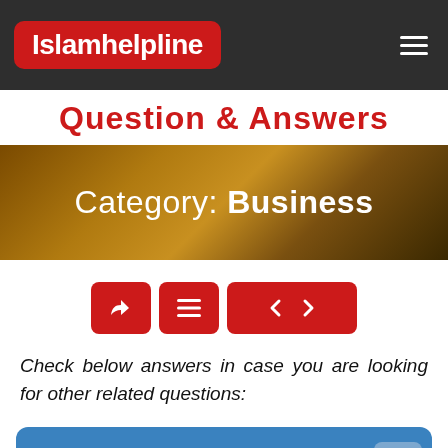Islamhelpline
Question & Answers
Category: Business
[Figure (screenshot): Toolbar with share, menu, previous and next navigation buttons in red]
Check below answers in case you are looking for other related questions:
Business with Saudi sponsor